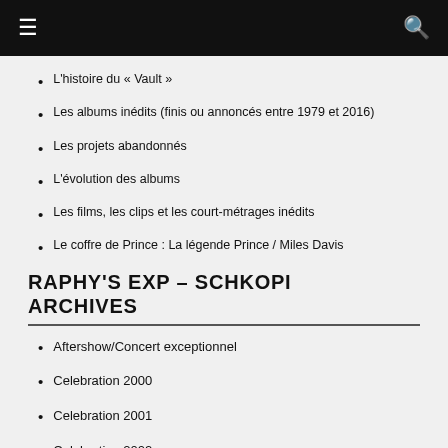☰  🔍
L'histoire du « Vault »
Les albums inédits (finis ou annoncés entre 1979 et 2016)
Les projets abandonnés
L'évolution des albums
Les films, les clips et les court-métrages inédits
Le coffre de Prince : La légende Prince / Miles Davis
RAPHY'S EXP – SCHKOPI ARCHIVES
Aftershow/Concert exceptionnel
Celebration 2000
Celebration 2001
Celebration 2002